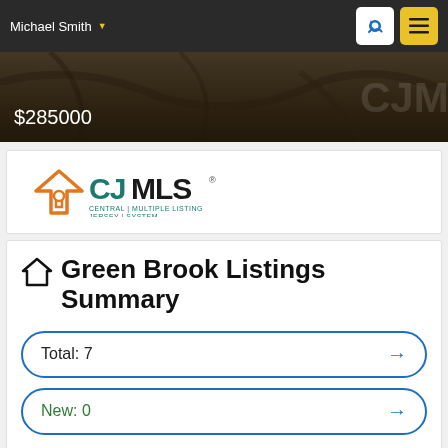Michael Smith
[Figure (photo): Hero property image with dark overlay showing price $285000]
$285000
[Figure (logo): CJMLS Central Jersey Multiple Listing System logo with orange house icon]
Green Brook Listings Summary
Total: 7
New: 0